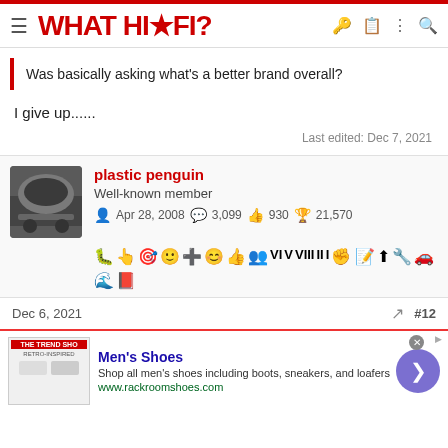WHAT HI-FI?
Was basically asking what's a better brand overall?
I give up......
Last edited: Dec 7, 2021
plastic penguin
Well-known member
Apr 28, 2008   3,099   930   21,570
Dec 6, 2021  #12
[Figure (infographic): Advertisement banner for Men's Shoes from rackroomshoes.com with shoe images]
Men's Shoes
Shop all men's shoes including boots, sneakers, and loafers
www.rackroomshoes.com